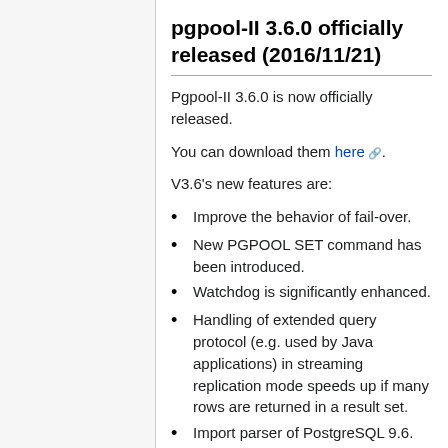pgpool-II 3.6.0 officially released (2016/11/21)
Pgpool-II 3.6.0 is now officially released.
You can download them here.
V3.6's new features are:
Improve the behavior of fail-over.
New PGPOOL SET command has been introduced.
Watchdog is significantly enhanced.
Handling of extended query protocol (e.g. used by Java applications) in streaming replication mode speeds up if many rows are returned in a result set.
Import parser of PostgreSQL 9.6.
In some cases pg_terminate_backend() now does